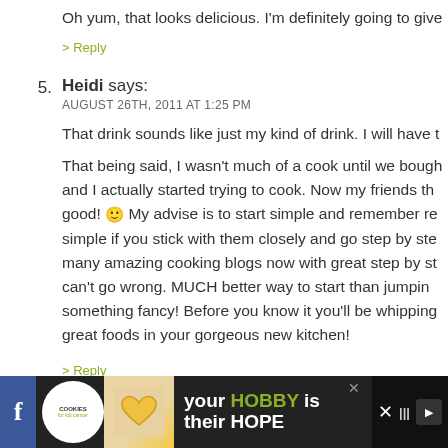Oh yum, that looks delicious. I'm definitely going to give
> Reply
5. Heidi says:
AUGUST 26TH, 2011 AT 1:25 PM
That drink sounds like just my kind of drink. I will have to try it.
That being said, I wasn't much of a cook until we bought our house and I actually started trying to cook. Now my friends think I'm pretty good! My advise is to start simple and remember recipes are simple if you stick with them closely and go step by step. There are many amazing cooking blogs now with great step by step pics. You can't go wrong. MUCH better way to start than jumping right in to something fancy! Before you know it you'll be whipping up great foods in your gorgeous new kitchen!
> Reply
6. Rebecca says:
[Figure (other): Advertisement banner for cookies for kid cancer charity, showing a heart-shaped cookie and text 'your HOBBY is their HOPE']